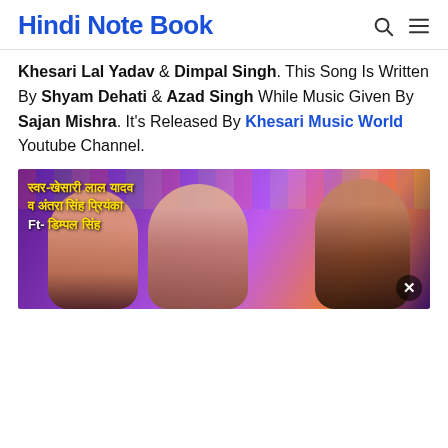Hindi Note Book
Khesari Lal Yadav & Dimpal Singh. This Song Is Written By Shyam Dehati & Azad Singh While Music Given By Sajan Mishra. It's Released By Khesari Music World Youtube Channel.
[Figure (photo): Thumbnail image showing people dancing at a party/concert with colorful stage lights. Hindi text overlay reads: स्वर-खेसारी लाल यादव व अंतरा सिंह प्रियंका Ft- डिम्पल सिंह]